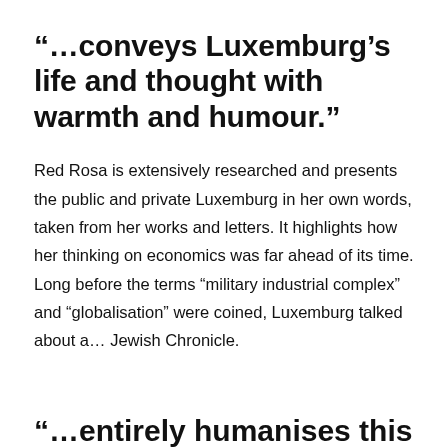“…conveys Luxemburg’s life and thought with warmth and humour.”
Red Rosa is extensively researched and presents the public and private Luxemburg in her own words, taken from her works and letters. It highlights how her thinking on economics was far ahead of its time. Long before the terms “military industrial complex” and “globalisation” were coined, Luxemburg talked about a… Jewish Chronicle.
“…entirely humanises this